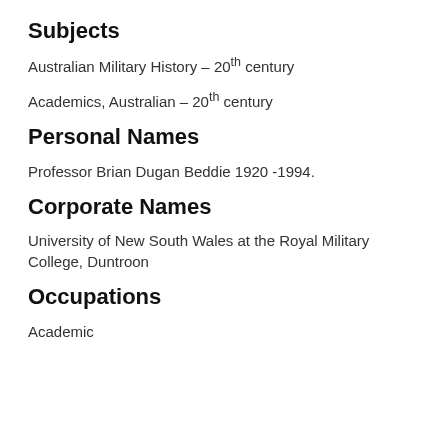Subjects
Australian Military History – 20th century
Academics, Australian – 20th century
Personal Names
Professor Brian Dugan Beddie 1920 -1994.
Corporate Names
University of New South Wales at the Royal Military College, Duntroon
Occupations
Academic